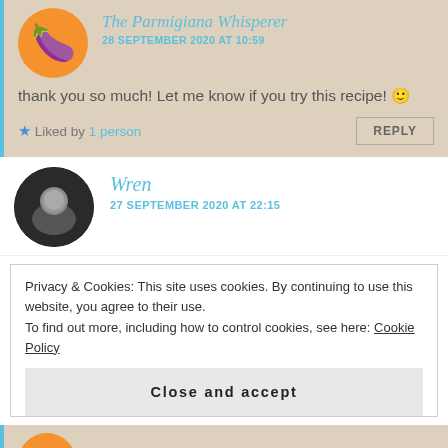The Parmigiana Whisperer
28 SEPTEMBER 2020 AT 10:59
thank you so much! Let me know if you try this recipe! 🙂
★ Liked by 1 person
REPLY
Wren
27 SEPTEMBER 2020 AT 22:15
Privacy & Cookies: This site uses cookies. By continuing to use this website, you agree to their use.
To find out more, including how to control cookies, see here: Cookie Policy
Close and accept
The Parmigiana Whisperer